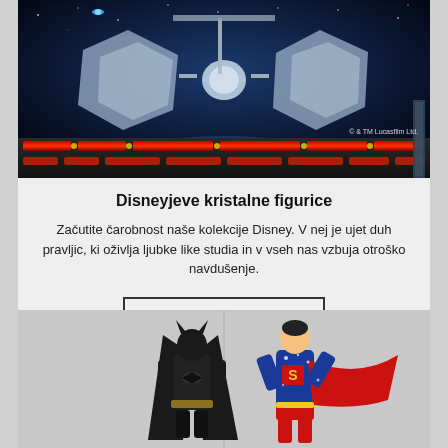[Figure (photo): A Star Wars TIE Fighter crystal figurine displayed on a dark blue space-themed background with red glowing lights on a platform. Copyright text '© & TM Lucasfilm Ltd.' visible in bottom right.]
Disneyjeve kristalne figurice
Začutite čarobnost naše kolekcije Disney. V nej je ujet duh pravljic, ki oživlja ljubke like studia in v vseh nas vzbuja otroško navdušenje.
Kupite zdaj
[Figure (photo): Two DC Comics crystal figurines side by side: Batman on the left in black costume, Superman on the right in blue and red costume flying pose.]